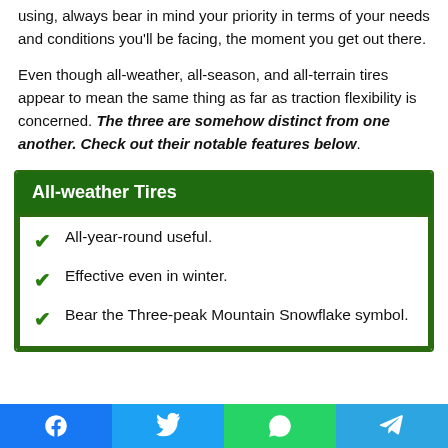using, always bear in mind your priority in terms of your needs and conditions you'll be facing, the moment you get out there.
Even though all-weather, all-season, and all-terrain tires appear to mean the same thing as far as traction flexibility is concerned. The three are somehow distinct from one another. Check out their notable features below.
All-weather Tires
All-year-round useful.
Effective even in winter.
Bear the Three-peak Mountain Snowflake symbol.
Facebook | Twitter | WhatsApp | Telegram